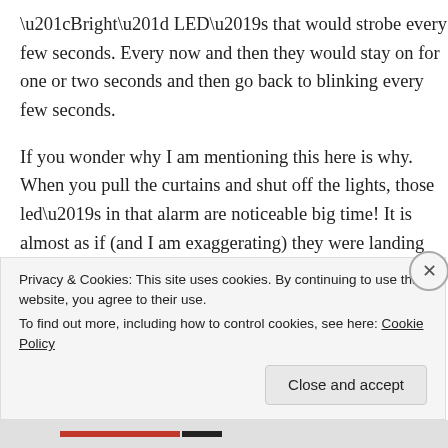“bright” LED’s that would strobe every few seconds.  Every now and then they would stay on for one or two seconds and then go back to blinking every few seconds.
If you wonder why I am mentioning this here is why.  When you pull the curtains and shut off the lights, those led’s in that alarm are noticeable big time!  It is almost as if (and I am exaggerating) they were landing lights on a runway.
I also should mention something about the food.  We ate at the restaurant that was not a buffet.  The staff was confused at best and the line was very long.  There were empty tables and I overheard one girl telling the hostess
Privacy & Cookies: This site uses cookies. By continuing to use this website, you agree to their use.
To find out more, including how to control cookies, see here: Cookie Policy